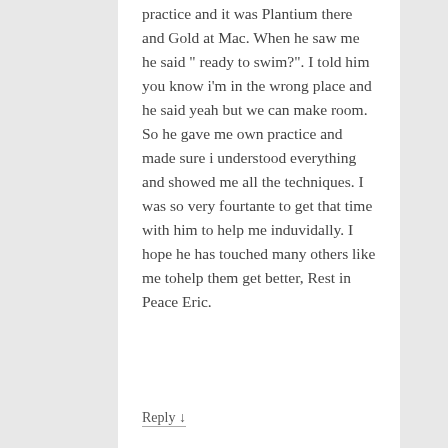practice and it was Plantium there and Gold at Mac. When he saw me he said " ready to swim?". I told him you know i'm in the wrong place and he said yeah but we can make room. So he gave me own practice and made sure i understood everything and showed me all the techniques. I was so very fourtante to get that time with him to help me induvidally. I hope he has touched many others like me tohelp them get better, Rest in Peace Eric.
Reply ↓